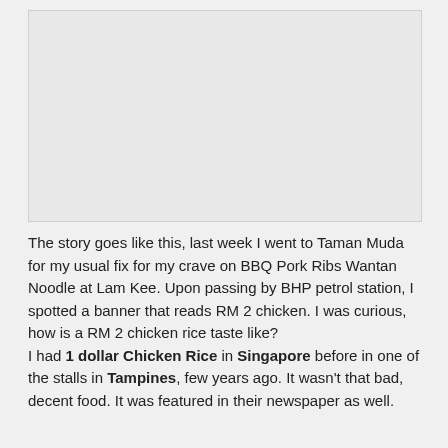[Figure (photo): Placeholder image area, light gray background representing a food photo]
The story goes like this, last week I went to Taman Muda for my usual fix for my crave on BBQ Pork Ribs Wantan Noodle at Lam Kee. Upon passing by BHP petrol station, I spotted a banner that reads RM 2 chicken. I was curious, how is a RM 2 chicken rice taste like?
I had 1 dollar Chicken Rice in Singapore before in one of the stalls in Tampines, few years ago. It wasn't that bad, decent food. It was featured in their newspaper as well.